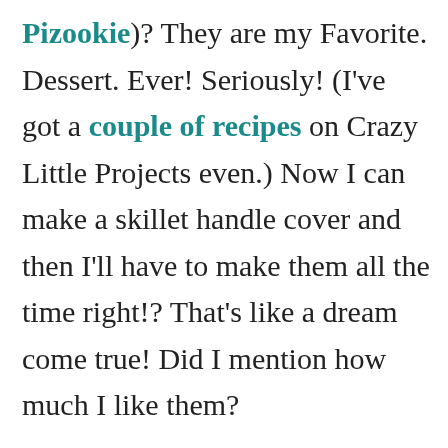Pizookie)? They are my Favorite. Dessert. Ever! Seriously! (I've got a couple of recipes on Crazy Little Projects even.) Now I can make a skillet handle cover and then I'll have to make them all the time right!? That's like a dream come true! Did I mention how much I like them?